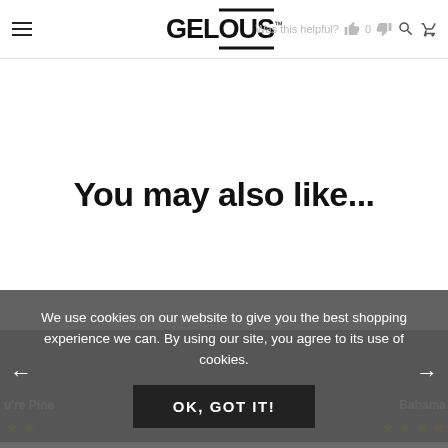GELOUS™ — Was this helpful? 0
You may also like...
We use cookies on our website to give you the best shopping experience we can. By using our site, you agree to its use of cookies.
OK, GOT IT!
u're Pine
Bahama